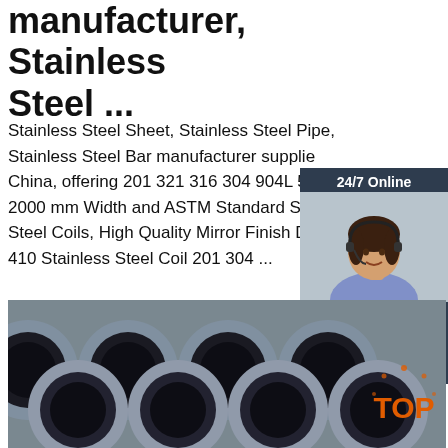manufacturer, Stainless Steel ...
Stainless Steel Sheet, Stainless Steel Pipe, Stainless Steel Bar manufacturer supplier in China, offering 201 321 316 304 904L 500-2000 mm Width and ASTM Standard Stainless Steel Coils, High Quality Mirror Finish De 410 Stainless Steel Coil 201 304 ...
[Figure (other): Chat widget showing a female agent wearing a headset, with '24/7 Online' label, 'Click here for free chat!' text, and an orange QUOTATION button on a dark blue/grey background]
[Figure (photo): Photo of multiple stainless steel pipes/tubes bundled together, viewed from the end showing circular cross-sections]
[Figure (logo): Orange TOP logo watermark in the bottom right corner]